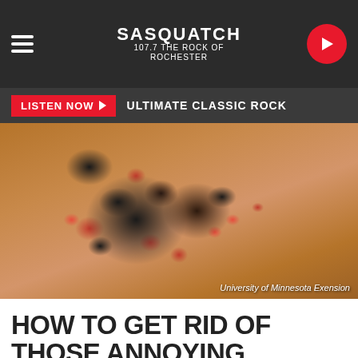Sasquatch 107.7 The Rock of Rochester
LISTEN NOW ▶  ULTIMATE CLASSIC ROCK
[Figure (photo): Close-up photo of boxelder bugs (red and black insects) clustered on a brown/tan surface. Credit: University of Minnesota Exension]
University of Minnesota Exension
HOW TO GET RID OF THOSE ANNOYING BOXELDER BUGS IN